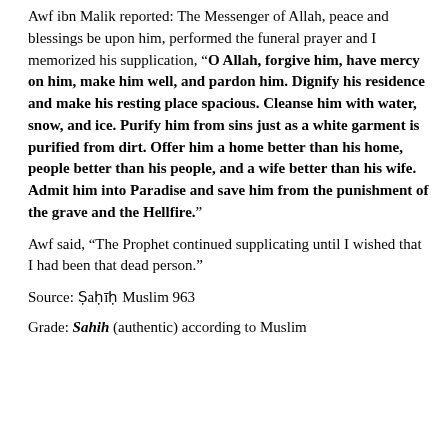Awf ibn Malik reported: The Messenger of Allah, peace and blessings be upon him, performed the funeral prayer and I memorized his supplication, “O Allah, forgive him, have mercy on him, make him well, and pardon him. Dignify his residence and make his resting place spacious. Cleanse him with water, snow, and ice. Purify him from sins just as a white garment is purified from dirt. Offer him a home better than his home, people better than his people, and a wife better than his wife. Admit him into Paradise and save him from the punishment of the grave and the Hellfire.”
Awf said, “The Prophet continued supplicating until I wished that I had been that dead person.”
Source: Ṣaḥīḥ Muslim 963
Grade: Sahih (authentic) according to Muslim